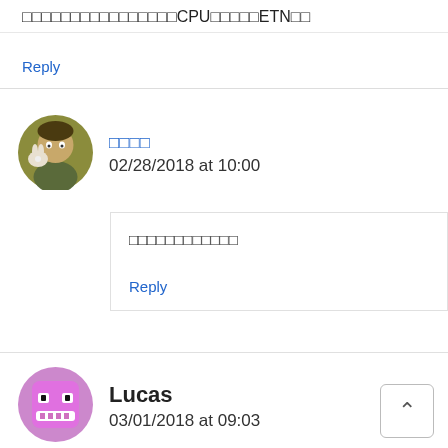□□□□□□□□□□□□□□□□CPU□□□□□ETN□□
Reply
[Figure (illustration): Circular avatar of an anime character holding a small animal, with olive/yellow-green background]
□□□□
02/28/2018 at 10:00
□□□□□□□□□□□□
Reply
[Figure (illustration): Circular avatar of Lucas, a pink/purple square-faced cartoon character with a grin]
Lucas
03/01/2018 at 09:03